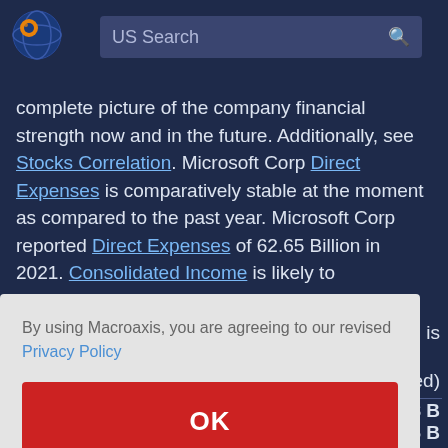[Figure (logo): Macroaxis globe logo - orange and blue circular icon]
US Search
complete picture of the company financial strength now and in the future. Additionally, see Stocks Correlation. Microsoft Corp Direct Expenses is comparatively stable at the moment as compared to the past year. Microsoft Corp reported Direct Expenses of 62.65 Billion in 2021. Consolidated Income is likely to ...
By using Macroaxis, you are agreeing to our revised Privacy Policy
OK
is
cted)
48 B
7.6 B